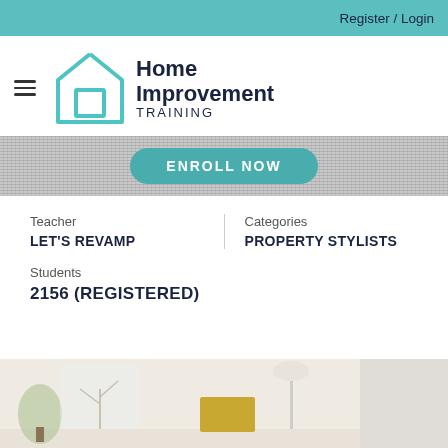Register / Login
[Figure (logo): Home Improvement Training logo — teal house outline with square window, beside bold text 'Home Improvement TRAINING']
ENROLL NOW
Teacher
LET'S REVAMP
Categories
PROPERTY STYLISTS
Students
2156 (REGISTERED)
[Figure (photo): Interior room photo showing a bright living space with plants, yellow/mustard box decor, and pendant lamp]